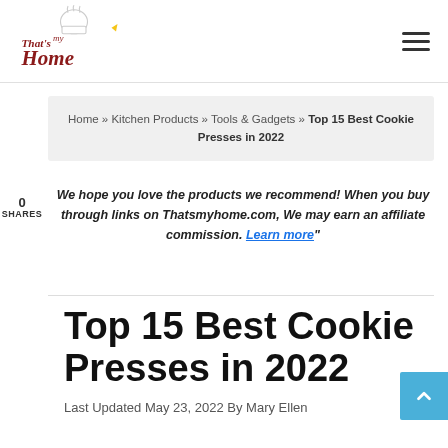That's My Home — navigation header with logo and hamburger menu
0 SHARES
Home » Kitchen Products » Tools & Gadgets » Top 15 Best Cookie Presses in 2022
We hope you love the products we recommend! When you buy through links on Thatsmyhome.com, We may earn an affiliate commission. Learn more"
Top 15 Best Cookie Presses in 2022
Last Updated May 23, 2022 By Mary Ellen